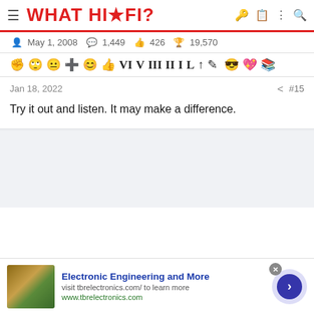WHAT HI-FI?
May 1, 2008  1,449  426  19,570
[Figure (screenshot): Forum post toolbar with various formatting and reaction icons]
Jan 18, 2022  #15
Try it out and listen. It may make a difference.
[Figure (infographic): Advertisement for tbr electronics: Electronic Engineering and More, visit tbrelectronics.com/ to learn more, www.tbrelectronics.com]